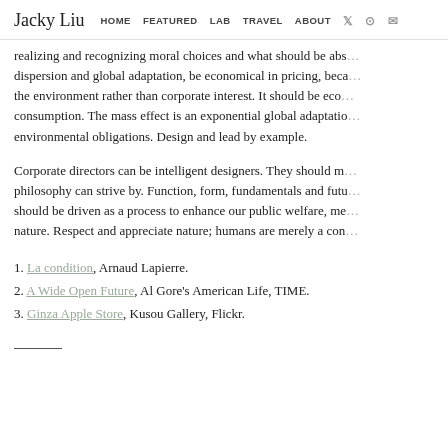Jacky Liu  HOME  FEATURED  LAB  TRAVEL  ABOUT
realizing and recognizing moral choices and what should be absorbed… dispersion and global adaptation, be economical in pricing, because the environment rather than corporate interest. It should be eco… consumption. The mass effect is an exponential global adaptation… environmental obligations. Design and lead by example.
Corporate directors can be intelligent designers. They should m… philosophy can strive by. Function, form, fundamentals and futu… should be driven as a process to enhance our public welfare, me… nature. Respect and appreciate nature; humans are merely a cor…
1. La condition, Arnaud Lapierre.
2. A Wide Open Future, Al Gore's American Life, TIME.
3. Ginza Apple Store, Kusou Gallery, Flickr.